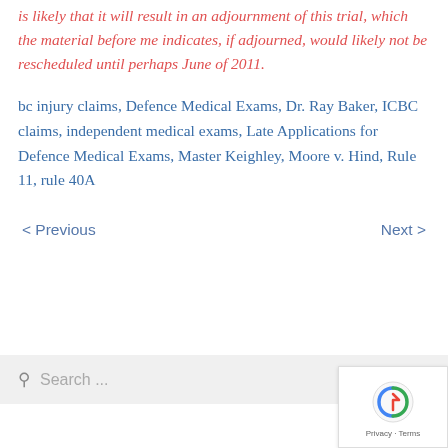is likely that it will result in an adjournment of this trial, which the material before me indicates, if adjourned, would likely not be rescheduled until perhaps June of 2011.
bc injury claims, Defence Medical Exams, Dr. Ray Baker, ICBC claims, independent medical exams, Late Applications for Defence Medical Exams, Master Keighley, Moore v. Hind, Rule 11, rule 40A
< Previous    Next >
Search ...